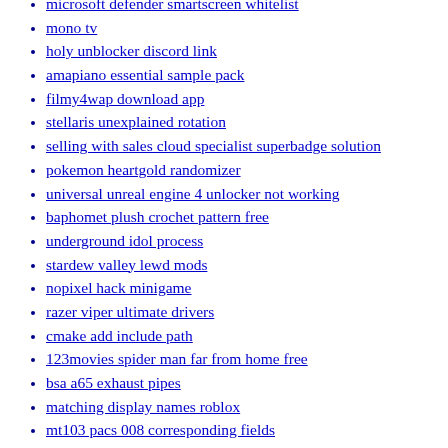microsoft defender smartscreen whitelist
mono tv
holy unblocker discord link
amapiano essential sample pack
filmy4wap download app
stellaris unexplained rotation
selling with sales cloud specialist superbadge solution
pokemon heartgold randomizer
universal unreal engine 4 unlocker not working
baphomet plush crochet pattern free
underground idol process
stardew valley lewd mods
nopixel hack minigame
razer viper ultimate drivers
cmake add include path
123movies spider man far from home free
bsa a65 exhaust pipes
matching display names roblox
mt103 pacs 008 corresponding fields
bravely default 2 trainer
camera depth fade ue4
fallout 4 body texture fix
pit chow mix puppies for sale
high balance bins for carding
power automate update sharepoint list item based on another list